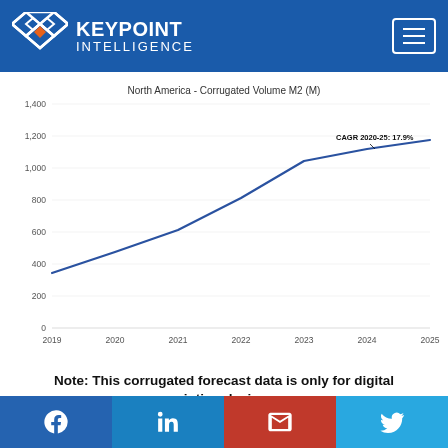KEYPOINT INTELLIGENCE
[Figure (line-chart): North America - Corrugated Volume M2 (M)]
Note: This corrugated forecast data is only for digital printing devices.
Facebook | LinkedIn | Gmail | Twitter